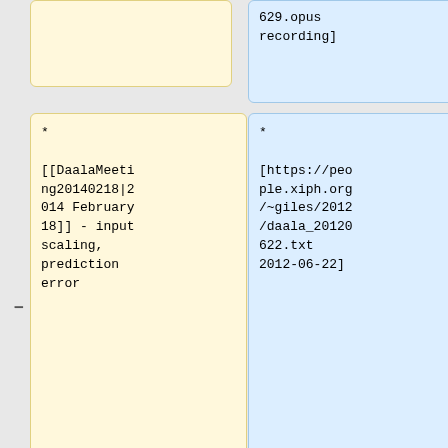629.opus recording]
* [[DaalaMeeting20140218|2014 February 18]] - input scaling, prediction error
* [https://people.xiph.org/~giles/2012/daala_20120622.txt 2012-06-22]
* [[DaalaMeeting20140225|2014 February 25]] - det1, pvq, fastssim
* [https://people.xiph.org/~giles/2012/daala_20120604.txt 2012-06-04] (actually a work week)